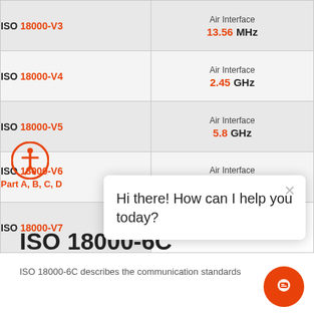| Standard | Specification |
| --- | --- |
| ISO 18000-V3 | Air Interface 13.56 MHz |
| ISO 18000-V4 | Air Interface 2.45 GHz |
| ISO 18000-V5 | Air Interface 5.8 GHz |
| ISO 18000-V6 Part A, B, C, D | Air Interface 860 MHz – 960 MHz |
| ISO 18000-V7 |  |
[Figure (other): Chat popup overlay with text: Hi there! How can I help you today?]
ISO 18000-6C
ISO 18000-6C describes the communication standards